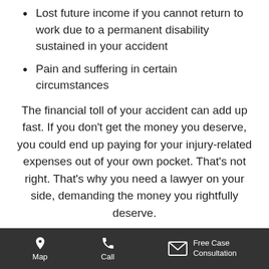Lost future income if you cannot return to work due to a permanent disability sustained in your accident
Pain and suffering in certain circumstances
The financial toll of your accident can add up fast. If you don't get the money you deserve, you could end up paying for your injury-related expenses out of your own pocket. That's not right. That's why you need a lawyer on your side, demanding the money you rightfully deserve.
Do different rules apply to lawyers in Texas?
Map | Call | Free Case Consultation